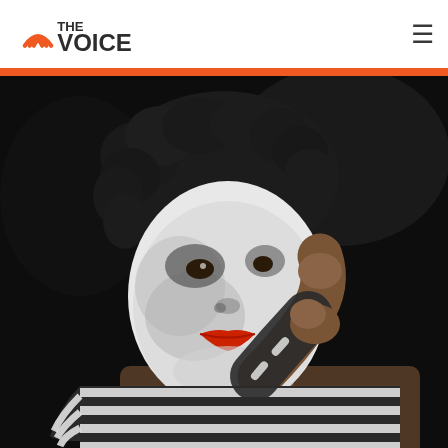THE VOICE
[Figure (photo): A person dressed as a mime, wearing black and white face paint with red lips, and a black and white striped long-sleeve shirt, posed against a dark background with head tilted and hand raised to neck.]